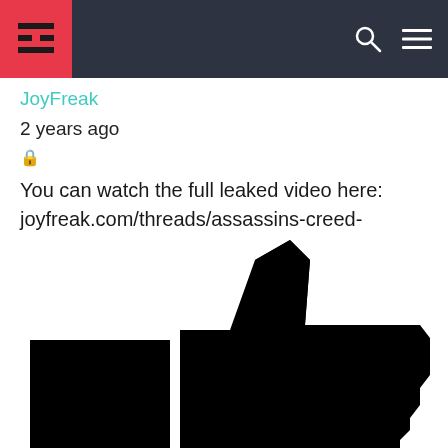JoyFreak
JoyFreak
2 years ago
🔒
You can watch the full leaked video here: joyfreak.com/threads/assassins-creed-valhalla-30-minute-gameplay-leaked.8356/
[Figure (illustration): A large black thumbs-up like icon, cropped at the bottom of the page, showing the thumb portion pointing upward and a rectangular base on the left side, all in solid black against white background.]